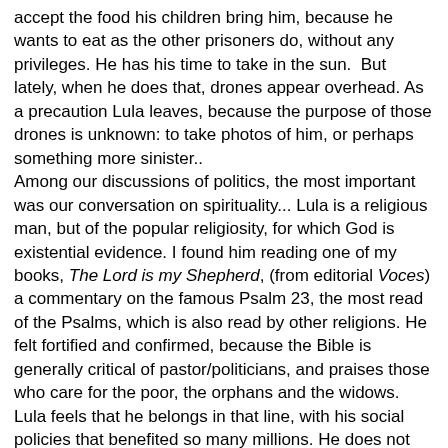accept the food his children bring him, because he wants to eat as the other prisoners do, without any privileges. He has his time to take in the sun.  But lately, when he does that, drones appear overhead. As a precaution Lula leaves, because the purpose of those drones is unknown: to take photos of him, or perhaps something more sinister.. Among our discussions of politics, the most important was our conversation on spirituality... Lula is a religious man, but of the popular religiosity, for which God is existential evidence. I found him reading one of my books, The Lord is my Shepherd, (from editorial Voces) a commentary on the famous Psalm 23, the most read of the Psalms, which is also read by other religions. He felt fortified and confirmed, because the Bible is generally critical of pastor/politicians, and praises those who care for the poor, the orphans and the widows.  Lula feels that he belongs in that line, with his social policies that benefited so many millions. He does not accept criticism as being a "populist."  Lula says: "I belong to the people, I come from the people and direct my policies, as much as I can, towards the people". At the head of his bed there is a crucifix. He uses the time of solitary confinement to reflect, meditate, to review so many